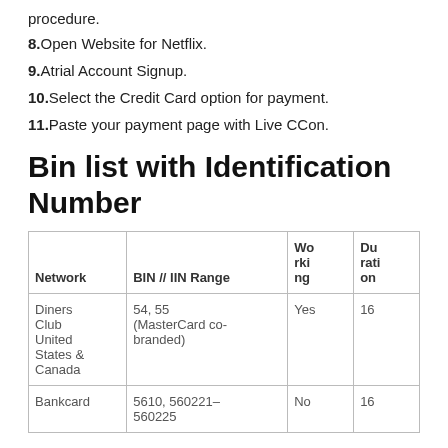procedure.
8. Open Website for Netflix.
9. Atrial Account Signup.
10. Select the Credit Card option for payment.
11. Paste your payment page with Live CCon.
Bin list with Identification Number
| Network | BIN // IIN Range | Working | Duration |
| --- | --- | --- | --- |
| Diners Club United States & Canada | 54, 55 (MasterCard co-branded) | Yes | 16 |
| Bankcard | 5610, 560221–560225 | No | 16 |